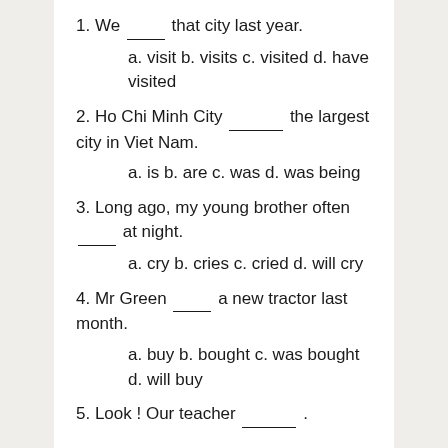1. We _____ that city last year.
a. visit b. visits c. visited d. have visited
2. Ho Chi Minh City _______ the largest city in Viet Nam.
a. is b. are c. was d. was being
3. Long ago, my young brother often _____ at night.
a. cry b. cries c. cried d. will cry
4. Mr Green _____ a new tractor last month.
a. buy b. bought c. was bought d. will buy
5. Look ! Our teacher _______ .